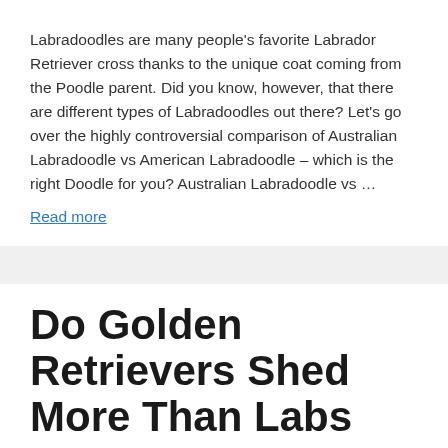Labradoodles are many people's favorite Labrador Retriever cross thanks to the unique coat coming from the Poodle parent. Did you know, however, that there are different types of Labradoodles out there? Let's go over the highly controversial comparison of Australian Labradoodle vs American Labradoodle – which is the right Doodle for you? Australian Labradoodle vs … Read more
Do Golden Retrievers Shed More Than Labs